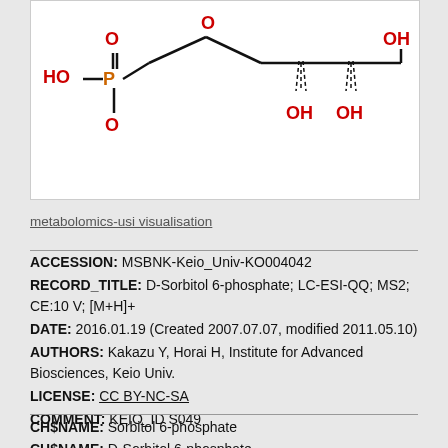[Figure (chemical-structure): Chemical structure of D-Sorbitol 6-phosphate showing phosphate group (HO-P=O with O substituent), carbon chain with OH groups, drawn in black with red heteroatom labels.]
metabolomics-usi visualisation
ACCESSION: MSBNK-Keio_Univ-KO004042
RECORD_TITLE: D-Sorbitol 6-phosphate; LC-ESI-QQ; MS2; CE:10 V; [M+H]+
DATE: 2016.01.19 (Created 2007.07.07, modified 2011.05.10)
AUTHORS: Kakazu Y, Horai H, Institute for Advanced Biosciences, Keio Univ.
LICENSE: CC BY-NC-SA
COMMENT: KEIO_ID S049
CH$NAME: Sorbitol 6-phosphate
CH$NAME: D-Sorbitol 6-phosphate